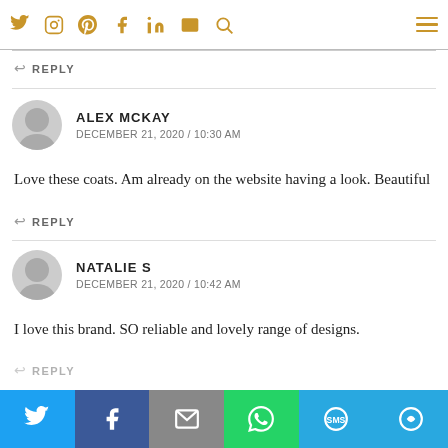Twitter Instagram Pinterest Facebook LinkedIn Email Search [hamburger menu]
I've started to go walking a lot so need a snuggly coat and these are stylish
↩ REPLY
ALEX MCKAY
DECEMBER 21, 2020 / 10:30 AM
Love these coats. Am already on the website having a look. Beautiful
↩ REPLY
NATALIE S
DECEMBER 21, 2020 / 10:42 AM
I love this brand. SO reliable and lovely range of designs.
↩ REPLY
Twitter | Facebook | Email | WhatsApp | SMS | More